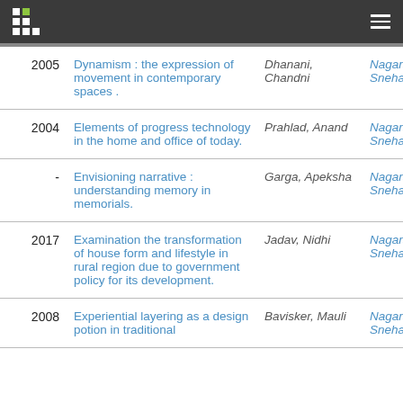| Year | Title | Author | Advisor |
| --- | --- | --- | --- |
| 2005 | Dynamism : the expression of movement in contemporary spaces . | Dhanani, Chandni | Nagarsheth, Snehal |
| 2004 | Elements of progress technology in the home and office of today. | Prahlad, Anand | Nagarsheth, Snehal |
| - | Envisioning narrative : understanding memory in memorials. | Garga, Apeksha | Nagarsheth, Snehal |
| 2017 | Examination the transformation of house form and lifestyle in rural region due to government policy for its development. | Jadav, Nidhi | Nagarsheth, Snehal |
| 2008 | Experiential layering as a design potion in traditional | Bavisker, Mauli | Nagarsheth, Snehal |